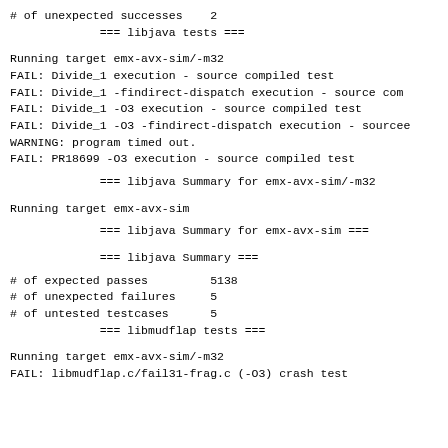# of unexpected successes    2
             === libjava tests ===
Running target emx-avx-sim/-m32
FAIL: Divide_1 execution - source compiled test
FAIL: Divide_1 -findirect-dispatch execution - source co
FAIL: Divide_1 -O3 execution - source compiled test
FAIL: Divide_1 -O3 -findirect-dispatch execution - source
WARNING: program timed out.
FAIL: PR18699 -O3 execution - source compiled test
=== libjava Summary for emx-avx-sim/-m32
Running target emx-avx-sim
=== libjava Summary for emx-avx-sim ===
=== libjava Summary ===
# of expected passes         5138
# of unexpected failures     5
# of untested testcases      5
             === libmudflap tests ===
Running target emx-avx-sim/-m32
FAIL: libmudflap.c/fail31-frag.c (-O3) crash test